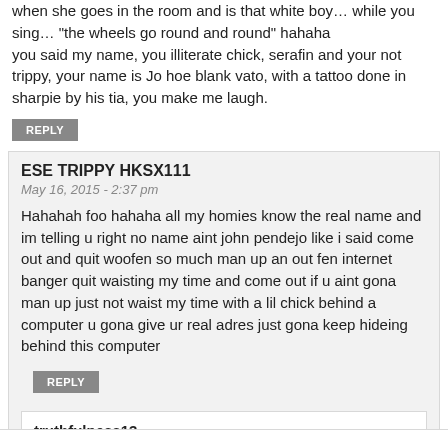when she goes in the room and is that white boy… while you sing… "the wheels go round and round" hahaha
you said my name, you illiterate chick, serafin and your not trippy, your name is Jo hoe blank vato, with a tattoo done in sharpie by his tia, you make me laugh.
REPLY
ESE TRIPPY HKSX111
May 16, 2015 - 2:37 pm
Hahahah foo hahaha all my homies know the real name and im telling u right no name aint john pendejo like i said come out and quit woofen so much man up an out fen internet banger quit waisting my time and come out if u aint gona man up just not waist my time with a lil chick behind a computer u gona give ur real adres just gona keep hideing behind this computer
REPLY
truthfulness13
May 16, 2015 - 2:45 pm
come to cali juan handle your ish foo, quit hiding in michigan like a witness prot hillbilly… enough said!!!

just so you know primos and a troll looking baby momma don't count as "homie
REPLY